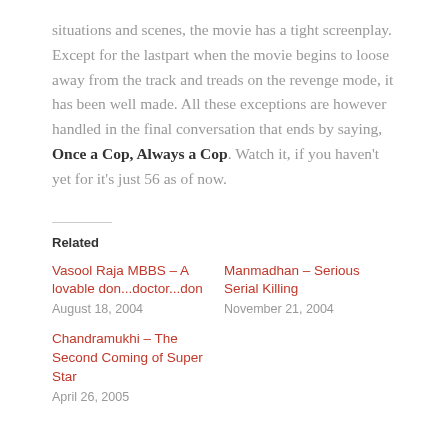situations and scenes, the movie has a tight screenplay. Except for the lastpart when the movie begins to loose away from the track and treads on the revenge mode, it has been well made. All these exceptions are however handled in the final conversation that ends by saying, Once a Cop, Always a Cop. Watch it, if you haven't yet for it's just 56 as of now.
Related
Vasool Raja MBBS – A lovable don...doctor...don
August 18, 2004
Manmadhan – Serious Serial Killing
November 21, 2004
Chandramukhi – The Second Coming of Super Star
April 26, 2005